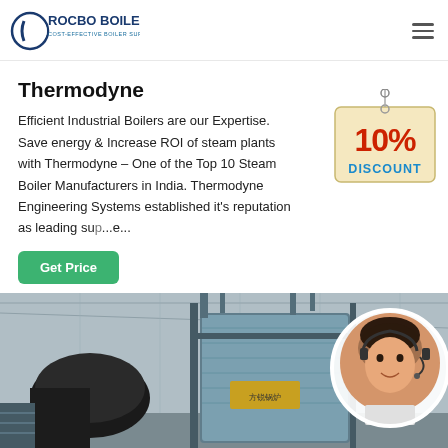ROCBO BOILER — COST-EFFECTIVE BOILER SUPPLIER
Thermodyne
Efficient Industrial Boilers are our Expertise. Save energy & Increase ROI of steam plants with Thermodyne – One of the Top 10 Steam Boiler Manufacturers in India. Thermodyne Engineering Systems established it's reputation as leading su...e...
[Figure (infographic): 10% DISCOUNT badge/tag graphic]
[Figure (photo): Industrial boiler equipment inside a factory building with a customer service agent in a circular overlay on the right]
Get Price